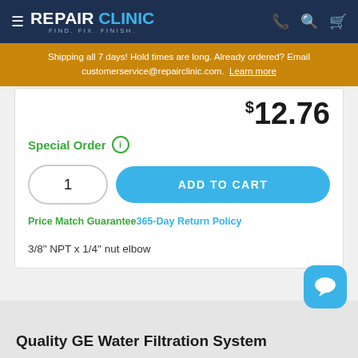REPAIR CLINIC — FIND. FIX. FINISH.
Shipping all 7 days! Hold times are long. Already ordered? Email customerservice@repairclinic.com. Learn more
$12.76
Special Order
1
ADD TO CART
Price Match Guarantee 365-Day Return Policy
3/8" NPT x 1/4" nut elbow
Quality GE Water Filtration System